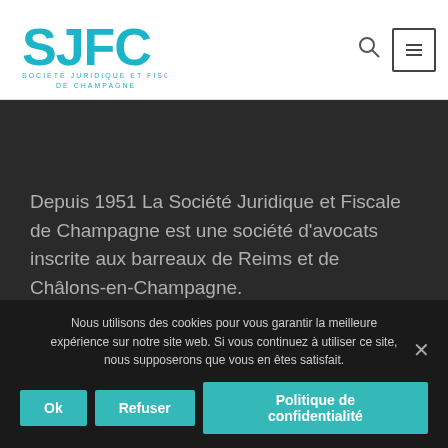[Figure (logo): SJFC - Société Juridique et Fiscale de Champagne logo in teal/cyan color]
Depuis 1951 La Société Juridique et Fiscale de Champagne est une société d'avocats inscrite aux barreaux de Reims et de Châlons-en-Champagne.
Nous utilisons des cookies pour vous garantir la meilleure expérience sur notre site web. Si vous continuez à utiliser ce site, nous supposerons que vous en êtes satisfait.
Ok
Refuser
Politique de confidentialité